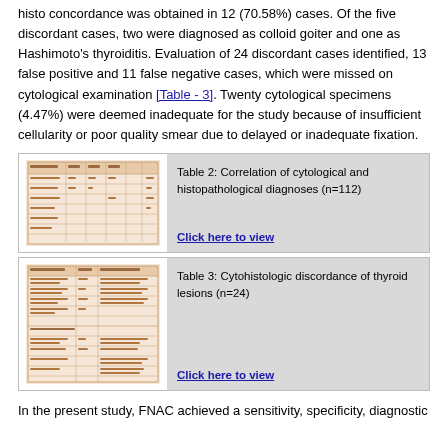histo concordance was obtained in 12 (70.58%) cases. Of the five discordant cases, two were diagnosed as colloid goiter and one as Hashimoto's thyroiditis. Evaluation of 24 discordant cases identified, 13 false positive and 11 false negative cases, which were missed on cytological examination [Table - 3]. Twenty cytological specimens (4.47%) were deemed inadequate for the study because of insufficient cellularity or poor quality smear due to delayed or inadequate fixation.
[Figure (table-as-image): Thumbnail of Table 2: Correlation of cytological and histopathological diagnoses (n=112)]
Table 2: Correlation of cytological and histopathological diagnoses (n=112)
[Figure (table-as-image): Thumbnail of Table 3: Cytohistologic discordance of thyroid lesions (n=24)]
Table 3: Cytohistologic discordance of thyroid lesions (n=24)
In the present study, FNAC achieved a sensitivity, specificity, diagnostic